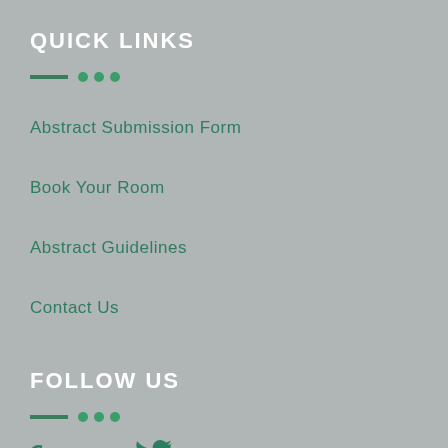QUICK LINKS
Abstract Submission Form
Book Your Room
Abstract Guidelines
Contact Us
FOLLOW US
[Figure (infographic): Social media icons: Facebook (f), LinkedIn (in), Twitter (bird icon)]